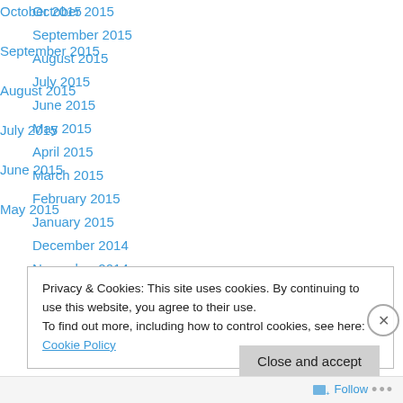October 2015
September 2015
August 2015
July 2015
June 2015
May 2015
April 2015
March 2015
February 2015
January 2015
December 2014
November 2014
October 2014
Privacy & Cookies: This site uses cookies. By continuing to use this website, you agree to their use.
To find out more, including how to control cookies, see here: Cookie Policy
Close and accept
Follow ...